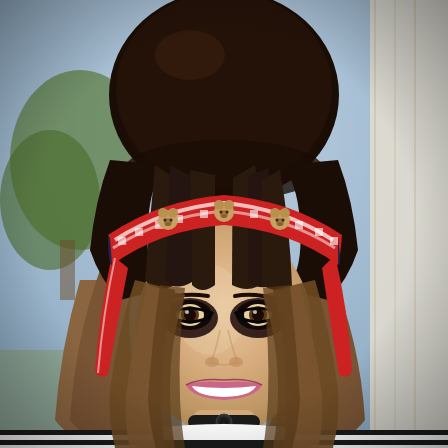[Figure (photo): A young woman dressed in a costume or styled look featuring a large dark beehive-style updo hair bun at the top, with long dark-to-brown ombre wavy hair flowing down. She wears a red and white patterned headband/scarf tied across her forehead with small decorative bear embellishments. Her makeup is dramatic with heavy dark smoky eye makeup. She is smiling and wearing a black and white horizontal striped top. The background shows a window with trees and a curtain visible outside.]